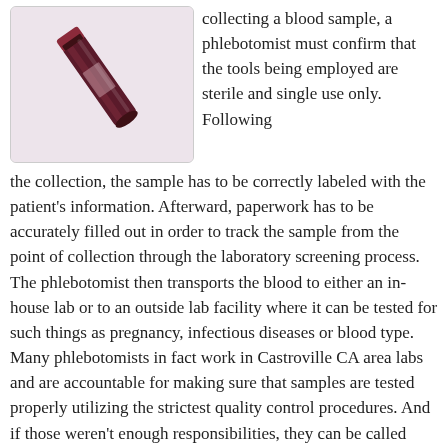[Figure (photo): Close-up photo of a dark red/maroon blood collection tube (vacutainer) against a light background, shown at an angle.]
collecting a blood sample, a phlebotomist must confirm that the tools being employed are sterile and single use only. Following the collection, the sample has to be correctly labeled with the patient's information. Afterward, paperwork has to be accurately filled out in order to track the sample from the point of collection through the laboratory screening process. The phlebotomist then transports the blood to either an in-house lab or to an outside lab facility where it can be tested for such things as pregnancy, infectious diseases or blood type. Many phlebotomists in fact work in Castroville CA area labs and are accountable for making sure that samples are tested properly utilizing the strictest quality control procedures. And if those weren't enough responsibilities, they can be called upon to train other phlebotomists in the collection, delivery and follow-up process.